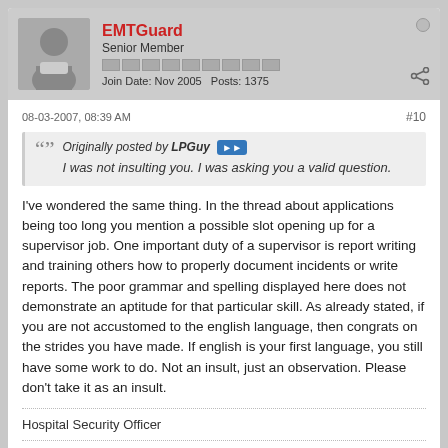EMTGuard | Senior Member | Join Date: Nov 2005 | Posts: 1375
08-03-2007, 08:39 AM
#10
Originally posted by LPGuy
I was not insulting you. I was asking you a valid question.
I've wondered the same thing. In the thread about applications being too long you mention a possible slot opening up for a supervisor job. One important duty of a supervisor is report writing and training others how to properly document incidents or write reports. The poor grammar and spelling displayed here does not demonstrate an aptitude for that particular skill. As already stated, if you are not accustomed to the english language, then congrats on the strides you have made. If english is your first language, you still have some work to do. Not an insult, just an observation. Please don't take it as an insult.
Hospital Security Officer
Charger